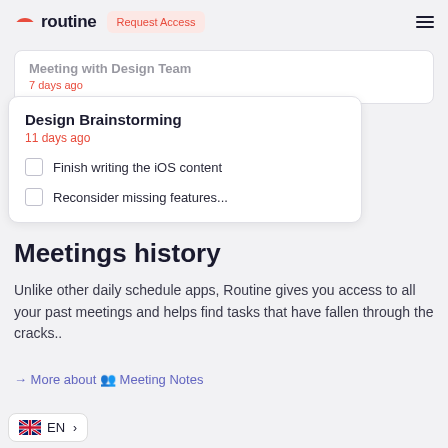routine | Request Access
[Figure (screenshot): App UI card showing 'Meeting with Design Team / 7 days ago' (partially visible) and 'Design Brainstorming / 11 days ago' with two unchecked tasks: 'Finish writing the iOS content' and 'Reconsider missing features...']
Meetings history
Unlike other daily schedule apps, Routine gives you access to all your past meetings and helps find tasks that have fallen through the cracks..
→ More about 👥 Meeting Notes
[Figure (other): UK flag language selector showing EN with a right arrow]